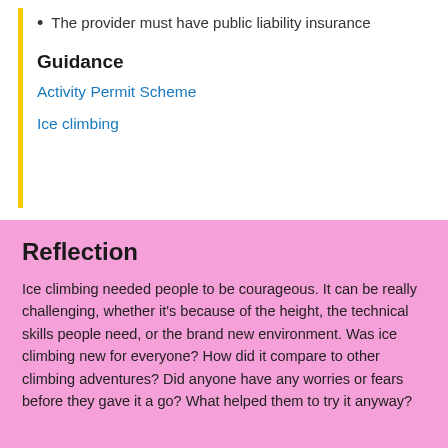The provider must have public liability insurance
Guidance
Activity Permit Scheme
Ice climbing
Reflection
Ice climbing needed people to be courageous. It can be really challenging, whether it's because of the height, the technical skills people need, or the brand new environment. Was ice climbing new for everyone? How did it compare to other climbing adventures? Did anyone have any worries or fears before they gave it a go? What helped them to try it anyway?